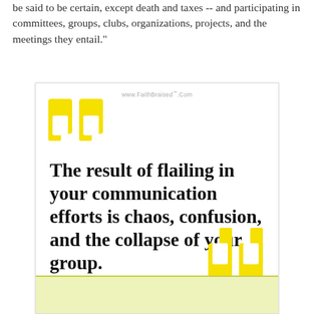be said to be certain, except death and taxes -- and participating in committees, groups, clubs, organizations, projects, and the meetings they entail."
[Figure (infographic): Quote card with large yellow opening and closing quotation marks on white background. Text reads: 'The result of flailing in your communication efforts is chaos, confusion, and the collapse of your group.' Website watermark: www.FaithBraised.com]